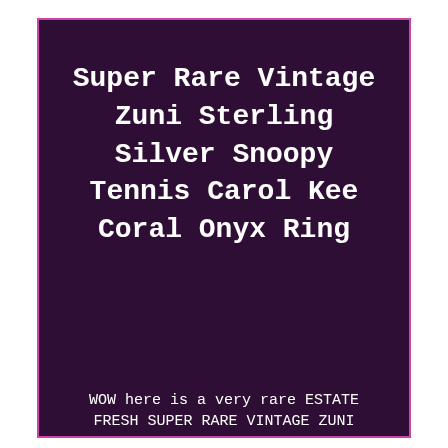Super Rare Vintage Zuni Sterling Silver Snoopy Tennis Carol Kee Coral Onyx Ring
WOW here is a very rare ESTATE FRESH SUPER RARE VINTAGE ZUNI